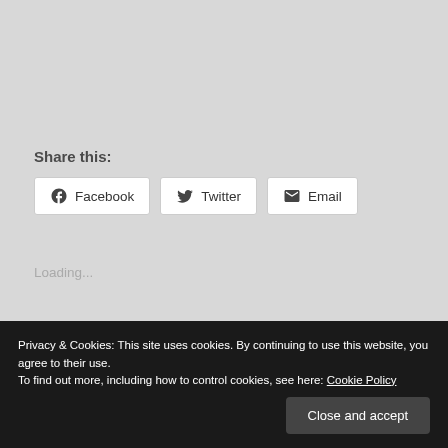Share this:
Facebook  Twitter  Email
Loading...
Related
Privacy & Cookies: This site uses cookies. By continuing to use this website, you agree to their use.
To find out more, including how to control cookies, see here: Cookie Policy
Close and accept